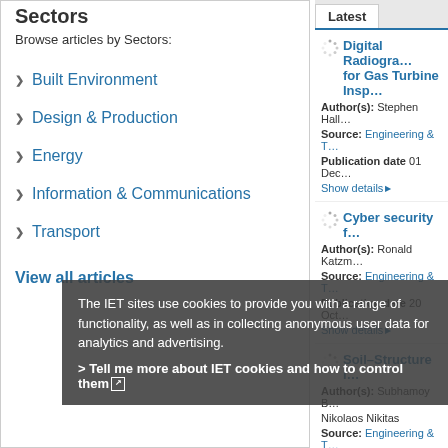Sectors
Browse articles by Sectors:
Built Environment
Design & Production
Energy
Information & Communications
Transport
View all articles
Latest
Digital Radiogra... for Gas Turbine Insp...
Author(s): Stephen Hall...
Source: Engineering & T...
Publication date 01 Dec...
Show details
Cyber security f...
Author(s): Ronald Katzm...
Source: Engineering & T...
Publication date 20 Oct...
Show details
Soil-Structure I...
Author(s): Subhamoy B... Nikolaos Nikitas
Source: Engineering & T...
Publication date 02 Sep...
Show details
The IET sites use cookies to provide you with a range of functionality, as well as in collecting anonymous user data for analytics and advertising.
> Tell me more about IET cookies and how to control them